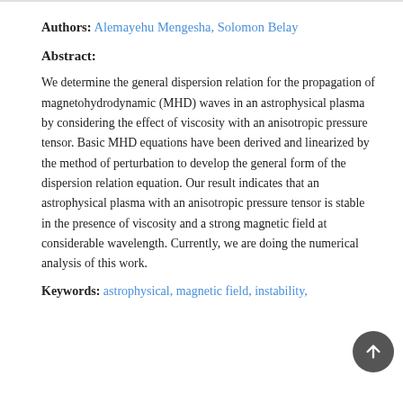Authors: Alemayehu Mengesha, Solomon Belay
Abstract:
We determine the general dispersion relation for the propagation of magnetohydrodynamic (MHD) waves in an astrophysical plasma by considering the effect of viscosity with an anisotropic pressure tensor. Basic MHD equations have been derived and linearized by the method of perturbation to develop the general form of the dispersion relation equation. Our result indicates that an astrophysical plasma with an anisotropic pressure tensor is stable in the presence of viscosity and a strong magnetic field at considerable wavelength. Currently, we are doing the numerical analysis of this work.
Keywords: astrophysical, magnetic field, instability,